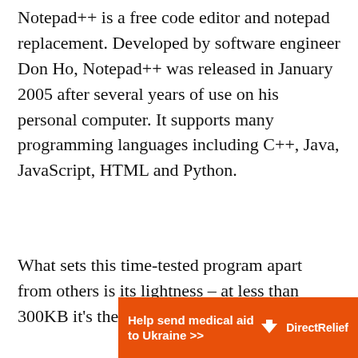Notepad++ is a free code editor and notepad replacement. Developed by software engineer Don Ho, Notepad++ was released in January 2005 after several years of use on his personal computer. It supports many programming languages including C++, Java, JavaScript, HTML and Python.
What sets this time-tested program apart from others is its lightness – at less than 300KB it's the perfect
[Figure (other): Orange advertisement banner for Direct Relief: 'Help send medical aid to Ukraine >>' with Direct Relief logo on the right]